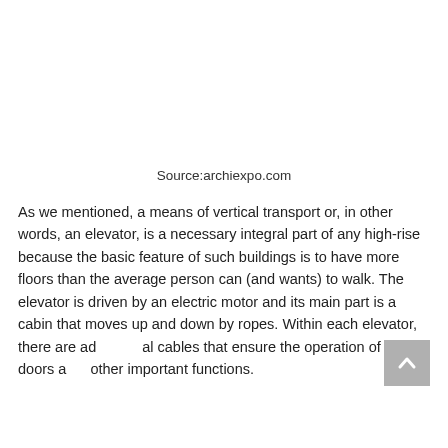Source:archiexpo.com
As we mentioned, a means of vertical transport or, in other words, an elevator, is a necessary integral part of any high-rise because the basic feature of such buildings is to have more floors than the average person can (and wants) to walk. The elevator is driven by an electric motor and its main part is a cabin that moves up and down by ropes. Within each elevator, there are additional cables that ensure the operation of lights, doors and other important functions.